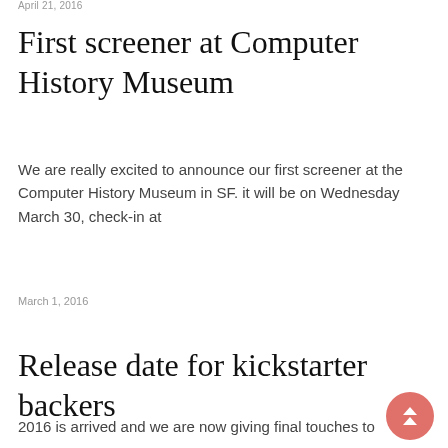April 21, 2016
First screener at Computer History Museum
We are really excited to announce our first screener at the Computer History Museum in SF. it will be on Wednesday March 30, check-in at
March 1, 2016
Release date for kickstarter backers
2016 is arrived and we are now giving final touches to